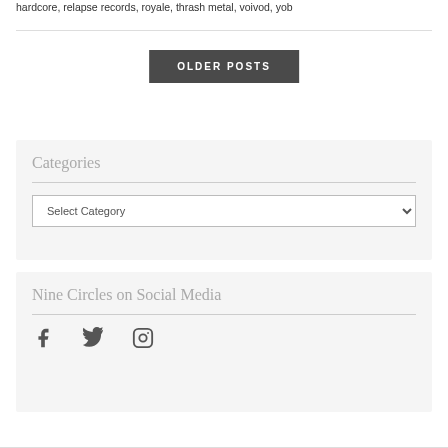hardcore, relapse records, royale, thrash metal, voivod, yob
OLDER POSTS
Categories
Select Category
Nine Circles on Social Media